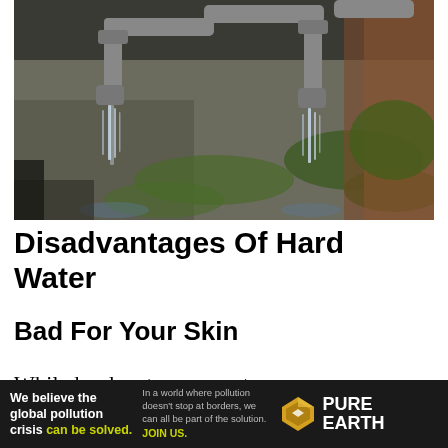[Figure (photo): Close-up photograph of rusty metal water pipes with water streaming/dripping down from them, with green moss growing on a weathered concrete wall background.]
Disadvantages Of Hard Water
Bad For Your Skin
While hard water may not present any adverse health
[Figure (other): Pure Earth advertisement banner: dark background with text 'We believe the global pollution crisis can be solved.' and 'In a world where pollution doesn't stop at borders, we can all be part of the solution. JOIN US.' with Pure Earth logo (diamond/shield shape in yellow/gold).]